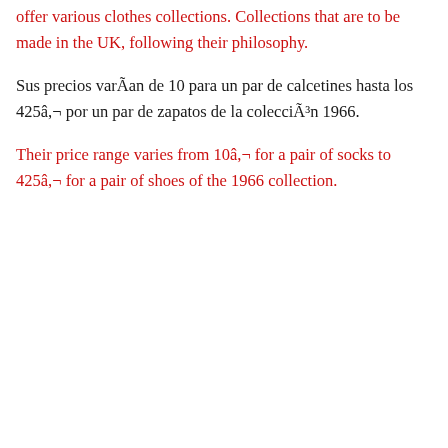offer various clothes collections. Collections that are to be made in the UK, following their philosophy.
Sus precios varÃan de 10 para un par de calcetines hasta los 425â,¬ por un par de zapatos de la colecciÃ³n 1966.
Their price range varies from 10â,¬ for a pair of socks to 425â,¬ for a pair of shoes of the 1966 collection.